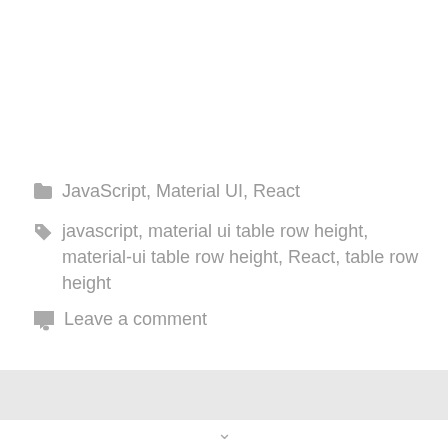JavaScript, Material UI, React
javascript, material ui table row height, material-ui table row height, React, table row height
Leave a comment